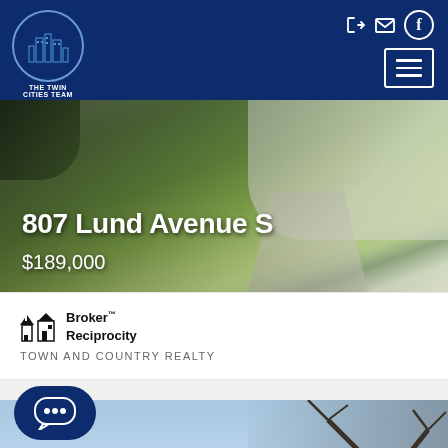[Figure (logo): The Twin Cities Team RE/MAX Results logo - circular logo with city skyline silhouette]
[Figure (photo): Property exterior photo showing green lawn and driveway for 807 Lund Avenue S]
807 Lund Avenue S
$189,000
[Figure (logo): Broker Reciprocity logo - house icon with text]
Broker™ Reciprocity
TOWN AND COUNTRY REALTY
[Figure (photo): Second property photo showing a house with bare trees in spring/fall, labeled MOST EXPENSIVE]
MOST EXPENSIVE